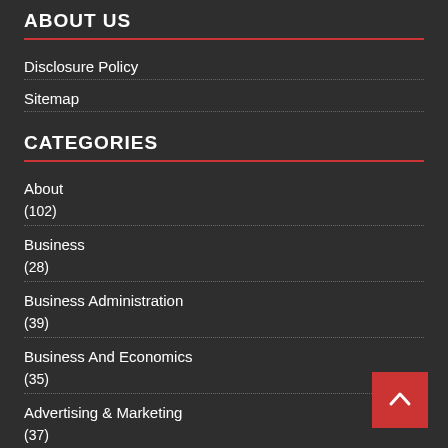ABOUT US
Disclosure Policy
Sitemap
CATEGORIES
About (102)
Business (28)
Business Administration (39)
Business And Economics (35)
Advertising & Marketing (37)
Arts & Entertainment (37)